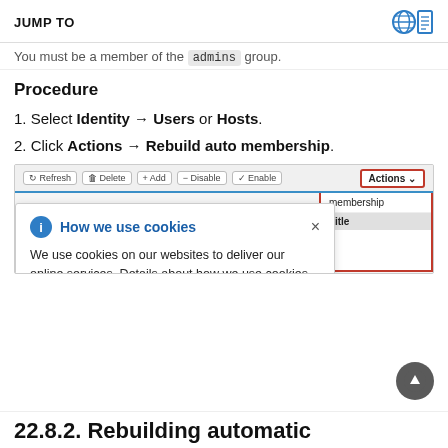JUMP TO
You must be a member of the `admins` group.
Procedure
1. Select Identity → Users or Hosts.
2. Click Actions → Rebuild auto membership.
[Figure (screenshot): Screenshot of a web UI showing a toolbar with Refresh, Delete, Add, Disable, Enable buttons and an Actions dropdown highlighted in a red box. The dropdown shows 'Rebuild auto membership' option and a Title column header. A cookie consent banner overlays the screenshot with title 'How we use cookies' and body text about cookie usage, with a Privacy Statement link.]
22.8.2. Rebuilding automatic